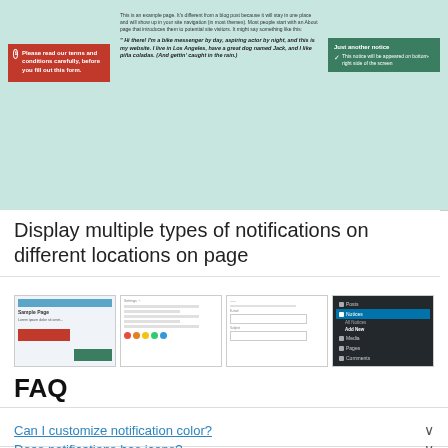[Figure (screenshot): Screenshot of a webpage showing notification boxes: a red warning box on the left saying 'Please read our terms and conditions carefully, before you fill out this form.' and a green notice box on the right saying 'Just another notice: This notice will be appeared on bottom-right side of the screen.' with sample page text in the center.]
Display multiple types of notifications on different locations on page
[Figure (screenshot): Four thumbnail screenshots: 1) webpage with red and green notification boxes, 2) list with colored circles, 3) form with input fields, 4) WordPress admin menu with Notices selected and Add New submenu visible.]
FAQ
Can I customize notification color?
Does notifications has icons?